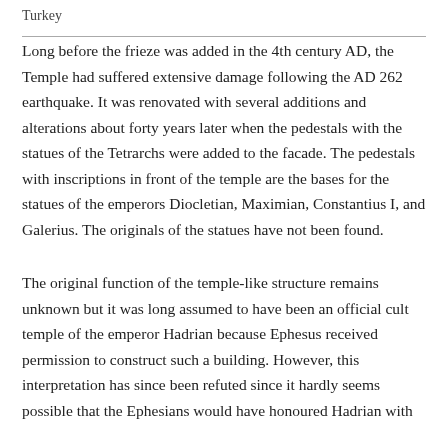Turkey
Long before the frieze was added in the 4th century AD, the Temple had suffered extensive damage following the AD 262 earthquake. It was renovated with several additions and alterations about forty years later when the pedestals with the statues of the Tetrarchs were added to the facade. The pedestals with inscriptions in front of the temple are the bases for the statues of the emperors Diocletian, Maximian, Constantius I, and Galerius. The originals of the statues have not been found.
The original function of the temple-like structure remains unknown but it was long assumed to have been an official cult temple of the emperor Hadrian because Ephesus received permission to construct such a building. However, this interpretation has since been refuted since it hardly seems possible that the Ephesians would have honoured Hadrian with